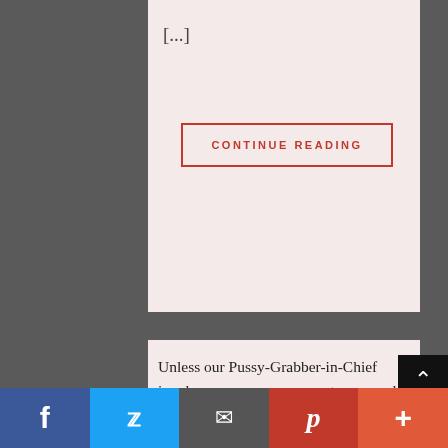[...]
CONTINUE READING
Unless our Pussy-Grabber-in-Chief invokes emergency powers to suspend Congressional investigations and Presidential elections, we'll soon be rid of him. The problem of Donald Trump will
[Figure (other): Social media share bar with Facebook, Twitter, Email, Pinterest, and More buttons]